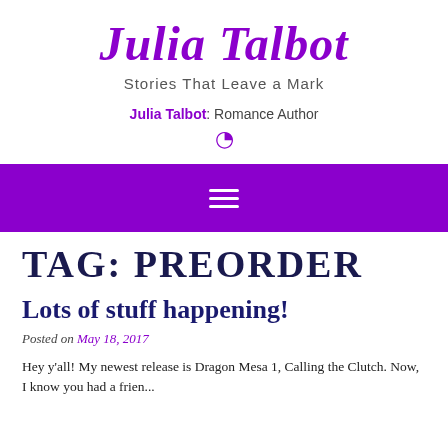Julia Talbot
Stories That Leave a Mark
Julia Talbot: Romance Author
[Figure (other): Loading spinner icon in purple]
[Figure (other): Purple navigation bar with hamburger menu icon (three horizontal white lines)]
TAG: PREORDER
Lots of stuff happening!
Posted on May 18, 2017
Hey y'all! My newest release is Dragon Mesa 1, Calling the Clutch. Now, I know you had a frien...calling me, Fairies...